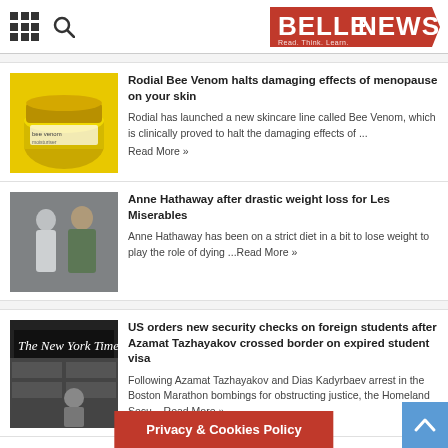BELLENEWS - Read. Think. Learn.
[Figure (photo): Yellow jar of Rodial Bee Venom moisturiser skincare product]
Rodial Bee Venom halts damaging effects of menopause on your skin
Rodial has launched a new skincare line called Bee Venom, which is clinically proved to halt the damaging effects of ...
Read More »
[Figure (photo): Anne Hathaway with co-star on movie set for Les Miserables]
Anne Hathaway after drastic weight loss for Les Miserables
Anne Hathaway has been on a strict diet in a bit to lose weight to play the role of dying ...Read More »
[Figure (photo): New York Times building or newsstand with person in foreground]
US orders new security checks on foreign students after Azamat Tazhayakov crossed border on expired student visa
Following Azamat Tazhayakov and Dias Kadyrbaev arrest in the Boston Marathon bombings for obstructing justice, the Homeland Secu... Read More »
Privacy & Cookies Policy